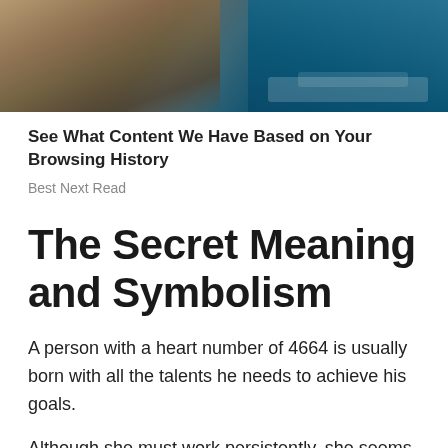[Figure (photo): Aerial or close-up photo of rocky coastline with blue ocean waves visible on the right side]
See What Content We Have Based on Your Browsing History
Best Next Read
The Secret Meaning and Symbolism
A person with a heart number of 4664 is usually born with all the talents he needs to achieve his goals.
Although she must work persistently, she seems perfectly